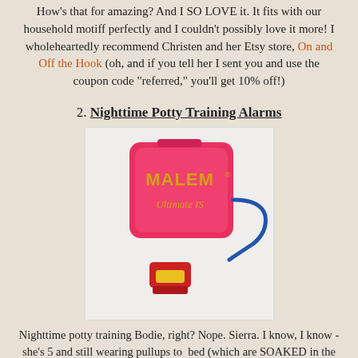How's that for amazing? And I SO LOVE it. It fits with our household motiff perfectly and I couldn't possibly love it more! I wholeheartedly recommend Christen and her Etsy store, On and Off the Hook (oh, and if you tell her I sent you and use the coupon code "referred," you'll get 10% off!)
2. Nighttime Potty Training Alarms
[Figure (photo): A pink MALEM Ultimate IS bedwetting alarm device with a blue cable and a red/yellow sensor clip attachment.]
Nighttime potty training Bodie, right? Nope. Sierra. I know, I know - she's 5 and still wearing pullups to bed (which are SOAKED in the morning regardless of how many times we woke her up to pee, how much we limited fluids before bed, etc.), but what can I say? Dusk and I were late bedwetters, too, so we kind of